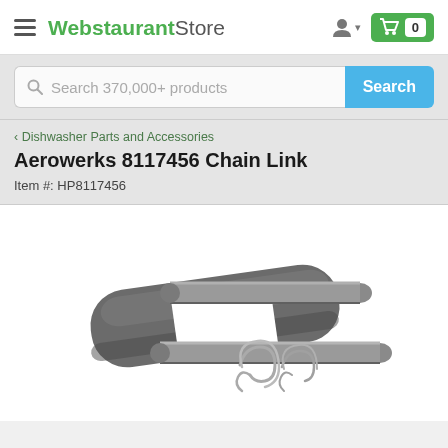WebstaurantStore
Search 370,000+ products
< Dishwasher Parts and Accessories
Aerowerks 8117456 Chain Link
Item #: HP8117456
[Figure (photo): Close-up photo of a metal chain link (Aerowerks 8117456) consisting of a flat steel plate with rounded ends, a cylindrical pin, and a small cotter/R-clip retaining pin, all in stainless/brushed steel finish, on a white background.]